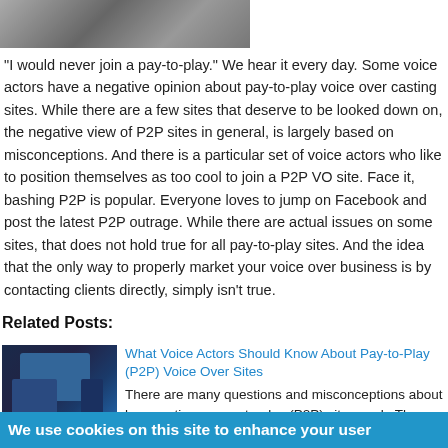[Figure (photo): Partial photo of people, cropped at top of page]
"I would never join a pay-to-play." We hear it every day. Some voice actors have a negative opinion about pay-to-play voice over casting sites. While there are a few sites that deserve to be looked down on, the negative view of P2P sites in general, is largely based on misconceptions. And there is a particular set of voice actors who like to position themselves as too cool to join a P2P VO site. Face it, bashing P2P is popular. Everyone loves to jump on Facebook and post the latest P2P outrage. While there are actual issues on some sites, that does not hold true for all pay-to-play sites. And the idea that the only way to properly market your voice over business is by contacting clients directly, simply isn't true.
Related Posts:
[Figure (screenshot): Thumbnail image of devices (monitor, tablet, phone) showing a website interface]
What Voice Actors Should Know About Pay-to-Play (P2P) Voice Over Sites
There are many questions and misconceptions about how casting on pay-to-play (P2P) sites work. The client side of pay-to-play is a mystery to many voice actors. Before
We use cookies on this site to enhance your user